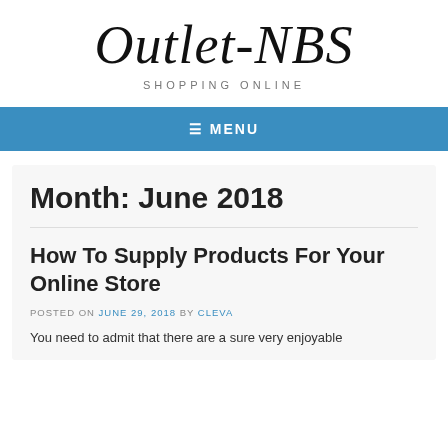Outlet-NBS
SHOPPING ONLINE
≡ MENU
Month: June 2018
How To Supply Products For Your Online Store
POSTED ON JUNE 29, 2018 BY CLEVA
You need to admit that there are a sure very enjoyable